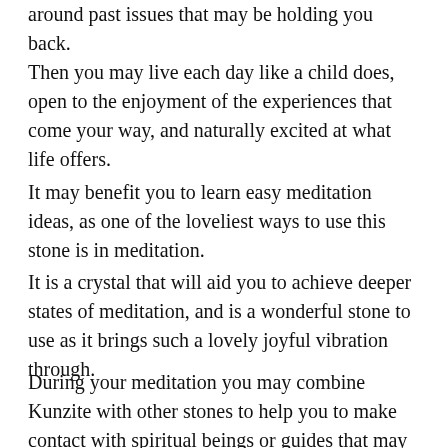around past issues that may be holding you back.
Then you may live each day like a child does, open to the enjoyment of the experiences that come your way, and naturally excited at what life offers.
It may benefit you to learn easy meditation ideas, as one of the loveliest ways to use this stone is in meditation.
It is a crystal that will aid you to achieve deeper states of meditation, and is a wonderful stone to use as it brings such a lovely joyful vibration through.
During your meditation you may combine Kunzite with other stones to help you to make contact with spiritual beings or guides that may aid you.